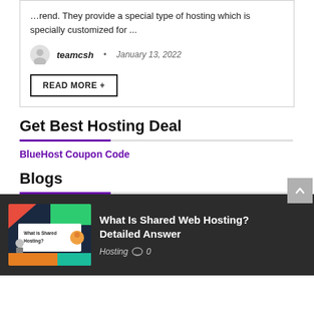…rend. They provide a special type of hosting which is specially customized for ...
teamcsh · January 13, 2022
READ MORE +
Get Best Hosting Deal
BlueHost Coupon Code
Blogs
[Figure (illustration): Thumbnail image for 'What Is Shared Hosting?' blog post with colorful graphic design elements]
What Is Shared Web Hosting? Detailed Answer
Hosting 0